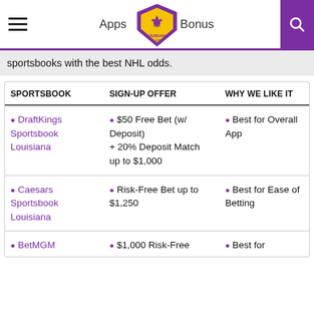Apps | Louisiana Sharp Logo | Bonus | Search
sportsbooks with the best NHL odds.
| SPORTSBOOK | SIGN-UP OFFER | WHY WE LIKE IT |
| --- | --- | --- |
| 🟣 DraftKings Sportsbook Louisiana | 🟣 $50 Free Bet (w/ Deposit) + 20% Deposit Match up to $1,000 | 🟣 Best for Overall App |
| 🟣 Caesars Sportsbook Louisiana | 🟣 Risk-Free Bet up to $1,250 | 🟣 Best for Ease of Betting |
| 🟣 BetMGM | 🟣 $1,000 Risk-Free | 🟣 Best for |